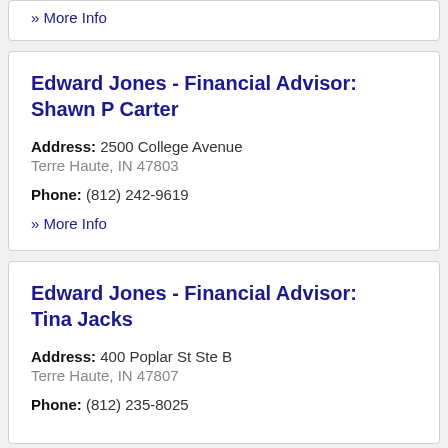» More Info
Edward Jones - Financial Advisor: Shawn P Carter
Address: 2500 College Avenue
Terre Haute, IN 47803
Phone: (812) 242-9619
» More Info
Edward Jones - Financial Advisor: Tina Jacks
Address: 400 Poplar St Ste B
Terre Haute, IN 47807
Phone: (812) 235-8025